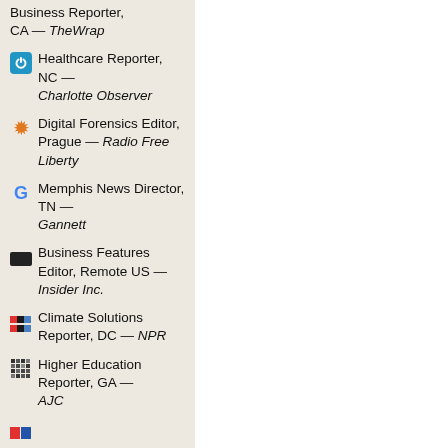Business Reporter, CA — TheWrap
Healthcare Reporter, NC — Charlotte Observer
Digital Forensics Editor, Prague — Radio Free Liberty
Memphis News Director, TN — Gannett
Business Features Editor, Remote US — Insider Inc.
Climate Solutions Reporter, DC — NPR
Higher Education Reporter, GA — AJC